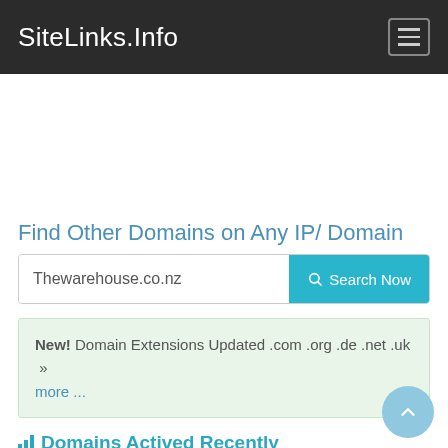SiteLinks.Info
Find Other Domains on Any IP/ Domain
Thewarehouse.co.nz [Search Now]
New! Domain Extensions Updated .com .org .de .net .uk » more ...
Domains Actived Recently